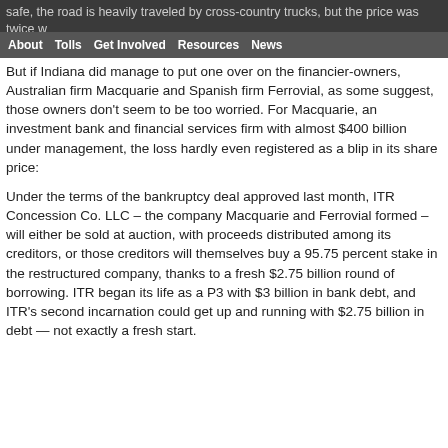safe, the road is heavily traveled by cross-country trucks, but the price was twice what analysts expected the road to fetch, and $1 billion more than any other group had bid.
About  Tolls  Get Involved  Resources  News
But if Indiana did manage to put one over on the financier-owners, Australian firm Macquarie and Spanish firm Ferrovial, as some suggest, those owners don't seem to be too worried. For Macquarie, an investment bank and financial services firm with almost $400 billion under management, the loss hardly even registered as a blip in its share price:
Under the terms of the bankruptcy deal approved last month, ITR Concession Co. LLC – the company Macquarie and Ferrovial formed – will either be sold at auction, with proceeds distributed among its creditors, or those creditors will themselves buy a 95.75 percent stake in the restructured company, thanks to a fresh $2.75 billion round of borrowing. ITR began its life as a P3 with $3 billion in bank debt, and ITR's second incarnation could get up and running with $2.75 billion in debt — not exactly a fresh start.